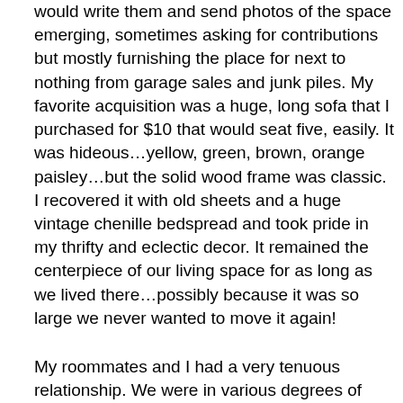would write them and send photos of the space emerging, sometimes asking for contributions but mostly furnishing the place for next to nothing from garage sales and junk piles. My favorite acquisition was a huge, long sofa that I purchased for $10 that would seat five, easily. It was hideous…yellow, green, brown, orange paisley…but the solid wood frame was classic. I recovered it with old sheets and a huge vintage chenille bedspread and took pride in my thrifty and eclectic decor. It remained the centerpiece of our living space for as long as we lived there…possibly because it was so large we never wanted to move it again!
My roommates and I had a very tenuous relationship. We were in various degrees of maturity and responsibility, had very different lifestyles, and generally were not a well-suited group to be sharing space although we managed